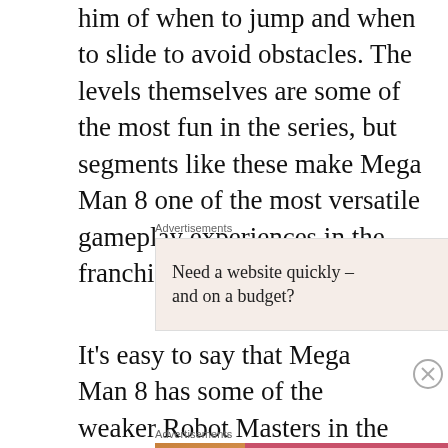him of when to jump and when to slide to avoid obstacles. The levels themselves are some of the most fun in the series, but segments like these make Mega Man 8 one of the most versatile gameplay experiences in the franchise.
[Figure (other): WordPress advertisement banner: 'Need a website quickly – and on a budget?' with WordPress logo on beige/pink background]
It's easy to say that Mega Man 8 has some of the weaker Robot Masters in the series, with the likes of Clown Man and the trademark-
[Figure (other): Victoria's Secret advertisement banner: 'SHOP THE COLLECTION' with 'SHOP NOW' button on pink/red background with model photo]